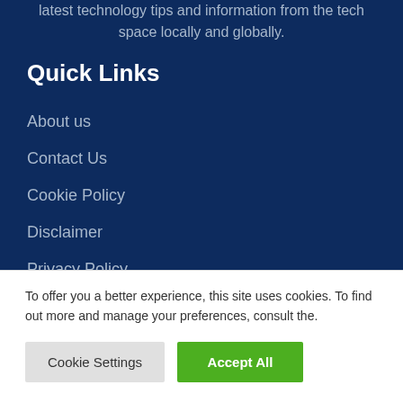latest technology tips and information from the tech space locally and globally.
Quick Links
About us
Contact Us
Cookie Policy
Disclaimer
Privacy Policy
To offer you a better experience, this site uses cookies. To find out more and manage your preferences, consult the.
Cookie Settings | Accept All